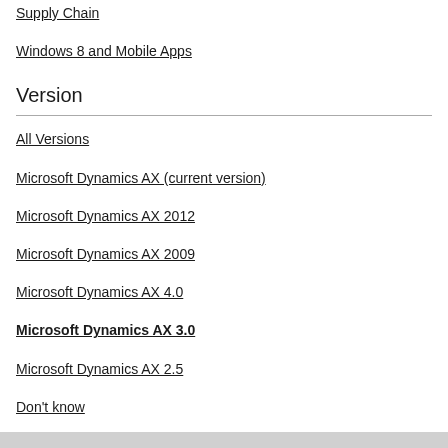Supply Chain
Windows 8 and Mobile Apps
Version
All Versions
Microsoft Dynamics AX (current version)
Microsoft Dynamics AX 2012
Microsoft Dynamics AX 2009
Microsoft Dynamics AX 4.0
Microsoft Dynamics AX 3.0
Microsoft Dynamics AX 2.5
Don't know